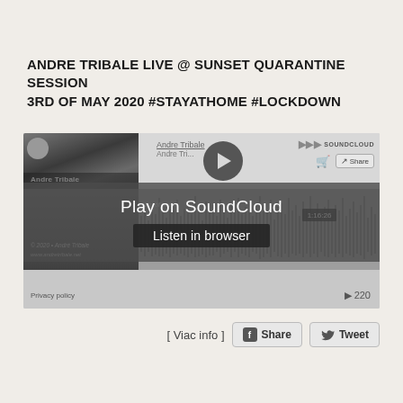ANDRE TRIBALE LIVE @ SUNSET QUARANTINE SESSION 3RD OF MAY 2020 #STAYATHOME #LOCKDOWN
[Figure (screenshot): SoundCloud embedded player widget for Andre Tribale's live sunset quarantine session. Shows artwork on left, play button, track title 'Andre Tribale / Andre Tri...', SoundCloud logo and Share button top right, waveform with time 1:16:26, play count 220, and overlay buttons 'Play on SoundCloud' and 'Listen in browser'. Privacy policy link bottom left.]
[ Viac info ]
Share
Tweet